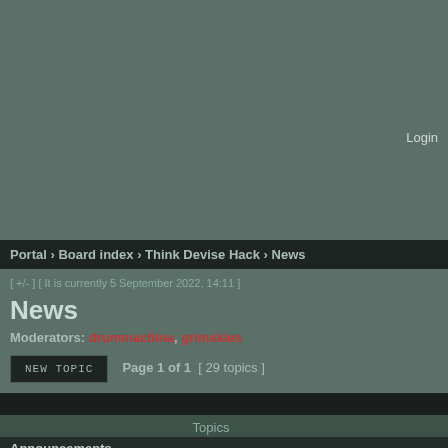Login
Portal › Board index › Think Devise Hack › News
[ +/- ] [ It is currently 5 September 2022, 14:11 ]
News
Moderators: drummachina, grimskies
NEW TOPIC   Page 1 of 1  [ 29 topics ]
Topics
Announcements
Poll: Contest?